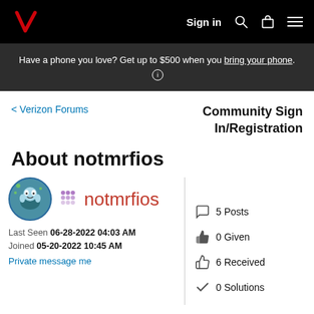Verizon navigation bar with Sign in, search, bag, and menu icons
Have a phone you love? Get up to $500 when you bring your phone. (i)
< Verizon Forums
Community Sign In/Registration
About notmrfios
notmrfios
Last Seen 06-28-2022 04:03 AM
Joined 05-20-2022 10:45 AM
Private message me
5 Posts
0 Given
6 Received
0 Solutions